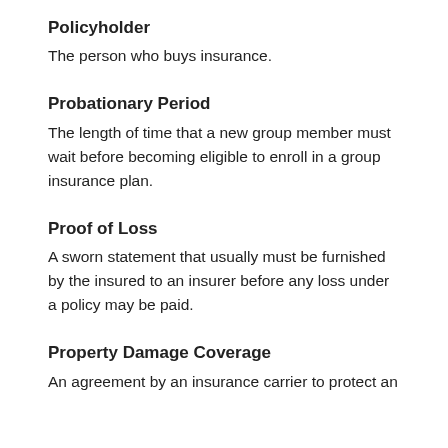Policyholder
The person who buys insurance.
Probationary Period
The length of time that a new group member must wait before becoming eligible to enroll in a group insurance plan.
Proof of Loss
A sworn statement that usually must be furnished by the insured to an insurer before any loss under a policy may be paid.
Property Damage Coverage
An agreement by an insurance carrier to protect an